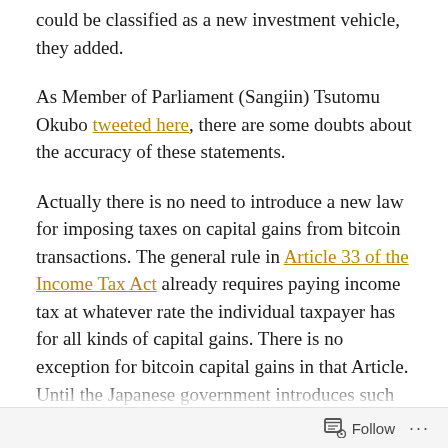could be classified as a new investment vehicle, they added.
As Member of Parliament (Sangiin) Tsutomu Okubo tweeted here, there are some doubts about the accuracy of these statements.
Actually there is no need to introduce a new law for imposing taxes on capital gains from bitcoin transactions. The general rule in Article 33 of the Income Tax Act already requires paying income tax at whatever rate the individual taxpayer has for all kinds of capital gains. There is no exception for bitcoin capital gains in that Article. Until the Japanese government introduces such an exception, which is not likely to happen in my humble opinion, this Article requires paying income tax at normal rates on whatever gains